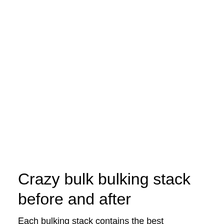Crazy bulk bulking stack before and after
Each bulking stack contains the best